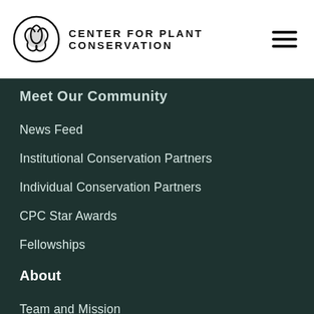CENTER FOR PLANT CONSERVATION
Meet Our Community
News Feed
Institutional Conservation Partners
Individual Conservation Partners
CPC Star Awards
Fellowships
About
Team and Mission
Financials
Meet Our Board
Fellowships